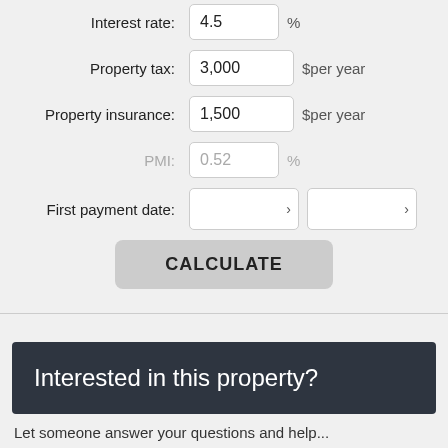Interest rate: 4.5 %
Property tax: 3,000 $per year
Property insurance: 1,500 $per year
PMI: 0.52 %
First payment date: [dropdown] [dropdown]
CALCULATE
Interested in this property?
Let someone answer your questions and help...